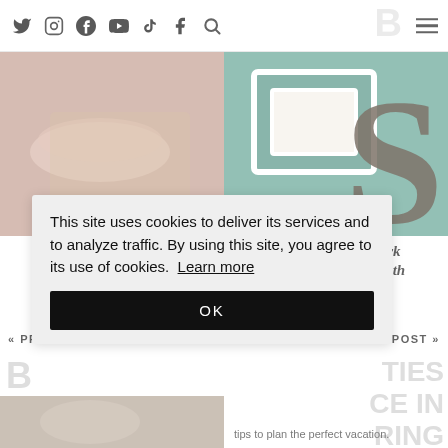Social media icons: Twitter, Instagram, Pinterest, YouTube, TikTok, Facebook, Search, Menu
[Figure (photo): Left blog post thumbnail: pinkish/beige background with bowl or craft item]
[Figure (photo): Right blog post thumbnail: teal/green graphic design with S letter]
Cherry Vanilla & Almond Smoothie #Recipe
Feburary 2014 Stork Stack Box – 25 Month Old – Review
« PREVIOUS POST
NEXT POST »
This site uses cookies to deliver its services and to analyze traffic. By using this site, you agree to its use of cookies. Learn more
OK
tips to plan the perfect vacation.